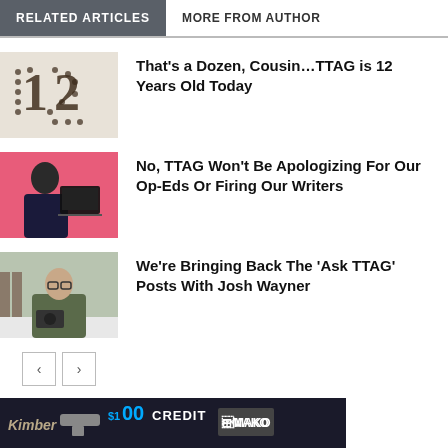RELATED ARTICLES | MORE FROM AUTHOR
That’s a Dozen, Cousin…TTAG is 12 Years Old Today
No, TTAG Won’t Be Apologizing For Our Op-Eds Or Firing Our Writers
We’re Bringing Back The ‘Ask TTAG’ Posts With Josh Wayner
”
[Figure (photo): Advertisement banner for Kimber with $100 credit and MAKO brand]